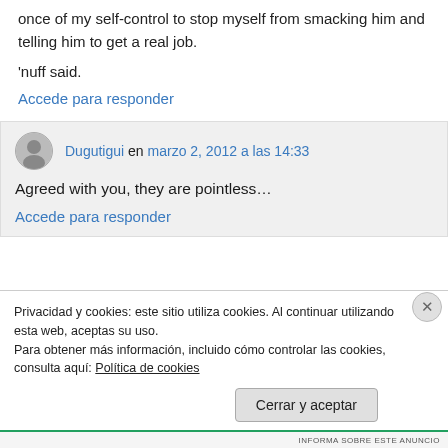once of my self-control to stop myself from smacking him and telling him to get a real job.
'nuff said.
Accede para responder
Dugutigui en marzo 2, 2012 a las 14:33
Agreed with you, they are pointless…
Accede para responder
Privacidad y cookies: este sitio utiliza cookies. Al continuar utilizando esta web, aceptas su uso.
Para obtener más información, incluido cómo controlar las cookies, consulta aquí: Política de cookies
Cerrar y aceptar